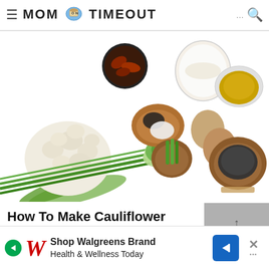MOM ON TIMEOUT
[Figure (photo): Overhead flat lay of cauliflower potato salad ingredients on white background: whole cauliflower head, green onions/scallions, two brown eggs, bowl of salt and pepper, bowl of mayonnaise or cream, small bowl of mustard, bowl of sundried tomatoes or bacon, bowl of black pepper seasoning]
How To Make Cauliflower Potato Salad
This salad can be made 3 ways: by roasti…
[Figure (infographic): Advertisement banner: Shop Walgreens Brand Health & Wellness Today, with Walgreens W logo and navigation arrow]